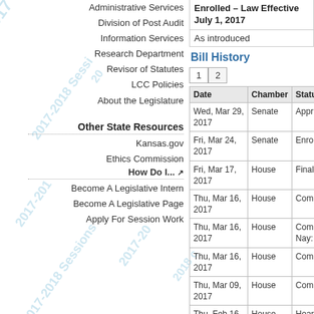Administrative Services
Division of Post Audit
Information Services
Research Department
Revisor of Statutes
LCC Policies
About the Legislature
Other State Resources
Kansas.gov
Ethics Commission
How Do I... ↗
Become A Legislative Intern
Become A Legislative Page
Apply For Session Work
Enrolled – Law Effective July 1, 2017
As introduced
Bill History
| Date | Chamber | Statu |
| --- | --- | --- |
| Wed, Mar 29, 2017 | Senate | Appr |
| Fri, Mar 24, 2017 | Senate | Enrol |
| Fri, Mar 17, 2017 | House | Final |
| Thu, Mar 16, 2017 | House | Comm |
| Thu, Mar 16, 2017 | House | Comm Nay: |
| Thu, Mar 16, 2017 | House | Comm |
| Thu, Mar 09, 2017 | House | Comm |
| Thu, Feb 16, 2017 | House | Heari |